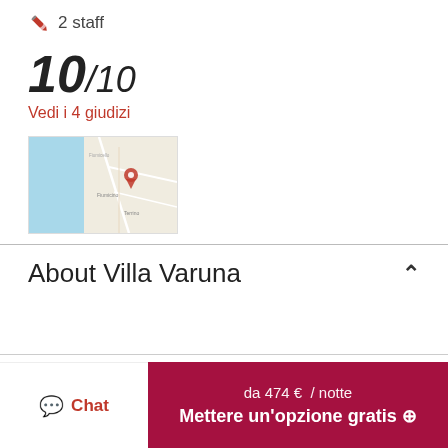2 staff
10/10
Vedi i 4 giudizi
[Figure (map): Small map thumbnail showing coastal area with a pink location pin marker]
About Villa Varuna
Photos
Mappa
Chat
da 474 €  / notte
Mettere un'opzione gratis ⊕